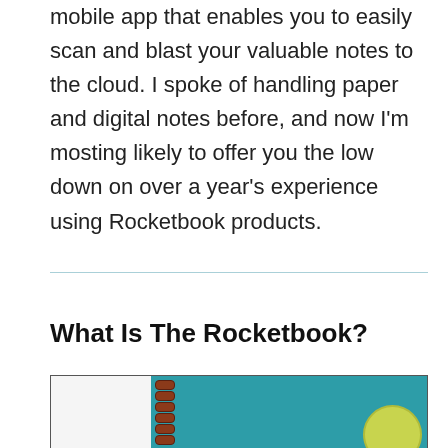mobile app that enables you to easily scan and blast your valuable notes to the cloud. I spoke of handling paper and digital notes before, and now I'm mosting likely to offer you the low down on over a year's experience using Rocketbook products.
What Is The Rocketbook?
[Figure (photo): Partial image of a Rocketbook notebook with teal cover, spiral binding, and a yellow-green circle logo visible at bottom right]